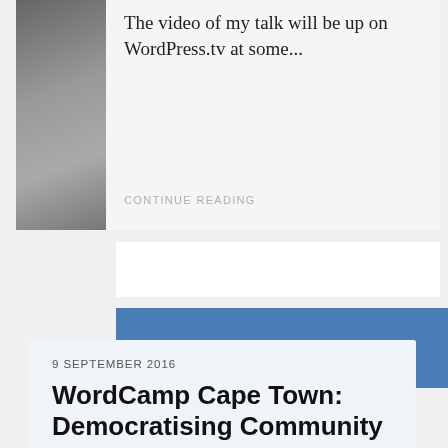[Figure (photo): Person photo thumbnail on the left side of the top card]
The video of my talk will be up on WordPress.tv at some...
CONTINUE READING
9 SEPTEMBER 2016
WordCamp Cape Town: Democratising Community
Today I presented a talk titled Democratising Community at